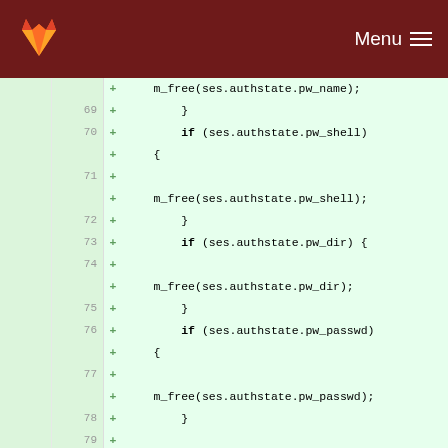GitLab — Menu
[Figure (screenshot): Code diff view showing lines 69-82 of a C source file with added lines highlighted in green. Added lines show m_free calls for ses.authstate.pw_name, pw_shell, pw_dir, and pw_passwd, plus closing braces. Unchanged lines 64-66/80-82 show closing brace and start of a comment.]